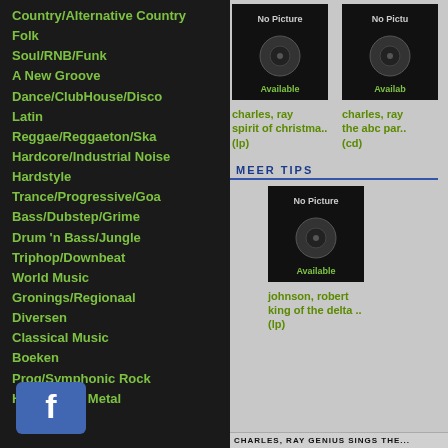Country/Alternative Country
Folk
Soul/RNB/Funk
A New Groove
Dance/ClubHouse/Disco
Latin
Reggae/Reggaeton/Ska
Hardcore/Industrial Noise
Hardstyle
Trance/Progressive/Goa
Bass/Dubstep/Grime
Drum 'n Bass/Jungle
Triphop/Downbeat
World Music
Gronings/Regionaal
Diversen
Classical Music
Boeken
Prog/Symphonic Rock
Hard Rock / Metal
[Figure (logo): Facebook icon button, blue rounded rectangle]
[Figure (photo): Album cover placeholder - No Picture Available - charles, ray - spirit of christma.. (lp)]
[Figure (photo): Album cover placeholder - No Picture Available - charles, ray - the abc par.. (cd)]
MEER TIPS
[Figure (photo): Album cover placeholder - No Picture Available - johnson, robert - king of the delta .. (lp)]
CHARLES, RAY GENIUS SINGS THE...